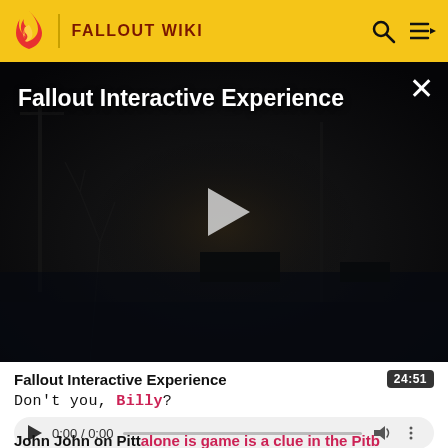FALLOUT WIKI
[Figure (screenshot): Dark post-apocalyptic video thumbnail showing a desolate wasteland scene with utility poles and bare trees. Title 'Fallout Interactive Experience' displayed in white text top-left. Play button in center. Close (X) button top-right.]
Fallout Interactive Experience
24:51
Don't you, Billy?
0:00 / 0:00
John John on Pittalone is game is a clue in the Pitb...